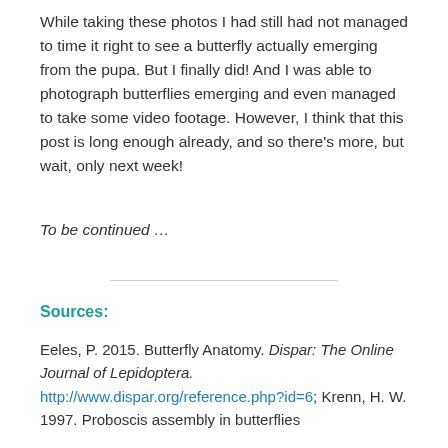While taking these photos I had still had not managed to time it right to see a butterfly actually emerging from the pupa. But I finally did! And I was able to photograph butterflies emerging and even managed to take some video footage. However, I think that this post is long enough already, and so there's more, but wait, only next week!
To be continued …
Sources:
Eeles, P. 2015. Butterfly Anatomy. Dispar: The Online Journal of Lepidoptera. http://www.dispar.org/reference.php?id=6; Krenn, H. W. 1997. Proboscis assembly in butterflies